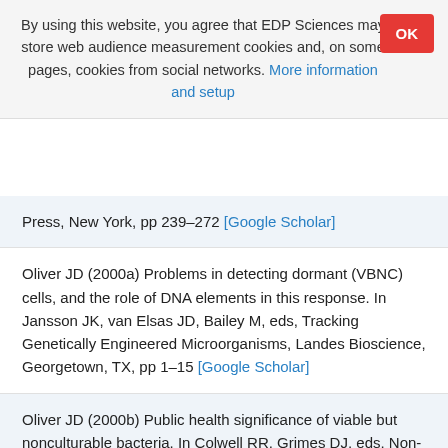By using this website, you agree that EDP Sciences may store web audience measurement cookies and, on some pages, cookies from social networks. More information and setup
Press, New York, pp 239–272 [Google Scholar]
Oliver JD (2000a) Problems in detecting dormant (VBNC) cells, and the role of DNA elements in this response. In Jansson JK, van Elsas JD, Bailey M, eds, Tracking Genetically Engineered Microorganisms, Landes Bioscience, Georgetown, TX, pp 1–15 [Google Scholar]
Oliver JD (2000b) Public health significance of viable but nonculturable bacteria. In Colwell RR, Grimes DJ, eds, Non-Culturable Microorganisms in the Environment, Amer. Soc. Microbiol. Press, Washington, DC, pp 277–300 [Google Scholar]